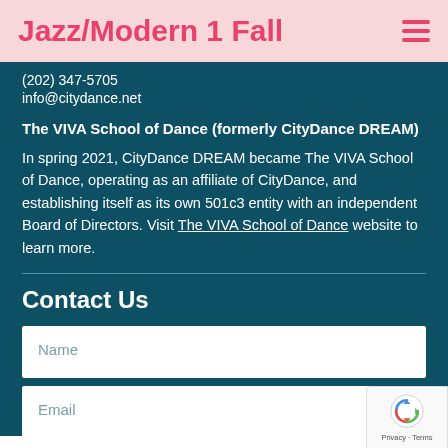Jazz/Modern 1 Fall
(202) 347-5705
info@citydance.net
The VIVA School of Dance (formerly CityDance DREAM)
In spring 2021, CityDance DREAM became The VIVA School of Dance, operating as an affiliate of CityDance, and establishing itself as its own 501c3 entity with an independent Board of Directors. Visit The VIVA School of Dance website to learn more.
Contact Us
Name
Email
Message